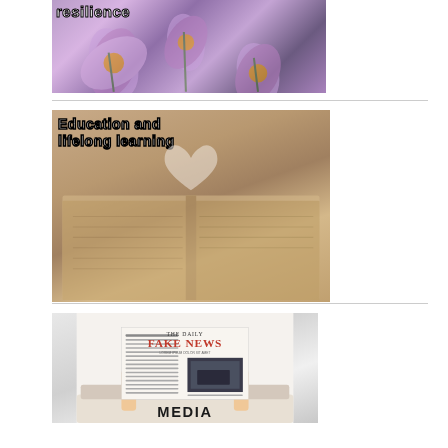[Figure (photo): Crocus flowers in purple/lavender with text overlay partially showing 'resilience' at top]
[Figure (photo): Open book with pages folded into a heart shape, overlaid with text 'Education and lifelong learning' in bold white font with black outline]
[Figure (photo): Person holding up a newspaper reading 'THE DAILY FAKE NEWS' with 'MEDIA' text at bottom in bold black letters]